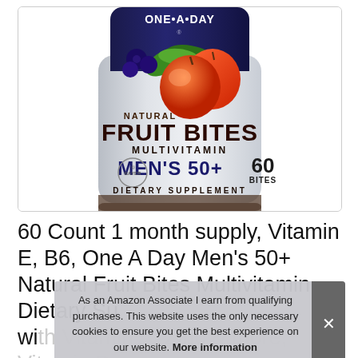[Figure (photo): One A Day Natural Fruit Bites Multivitamin Men's 50+ dietary supplement bottle. Label shows fruit illustrations (apples, blueberries), Bayer logo, 60 Bites count, dark navy and silver design.]
60 Count 1 month supply, Vitamin E, B6, One A Day Men's 50+ Natural Fruit Bites Multivitamin Dietary Supplement with Vitamin A, Zinc & more, Vitamin D,
As an Amazon Associate I earn from qualifying purchases. This website uses the only necessary cookies to ensure you get the best experience on our website. More information